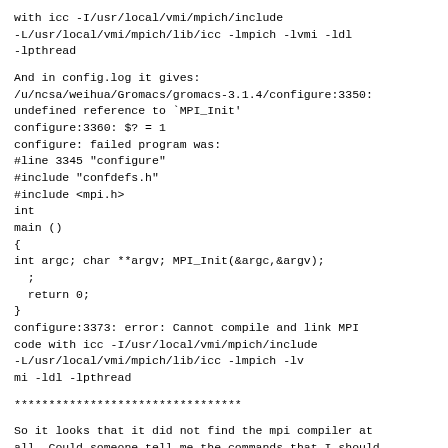with icc -I/usr/local/vmi/mpich/include
-L/usr/local/vmi/mpich/lib/icc -lmpich -lvmi -ldl
-lpthread
And in config.log it gives:
/u/ncsa/weihua/Gromacs/gromacs-3.1.4/configure:3350:
undefined reference to `MPI_Init'
configure:3360: $? = 1
configure: failed program was:
#line 3345 "configure"
#include "confdefs.h"
#include <mpi.h>
int
main ()
{
int argc; char **argv; MPI_Init(&argc,&argv);
  ;
  return 0;
}
configure:3373: error: Cannot compile and link MPI
code with icc -I/usr/local/vmi/mpich/include
-L/usr/local/vmi/mpich/lib/icc -lmpich -lv
mi -ldl -lpthread
*********************************
So it looks that it did not find the mpi compiler at
all. Could someone tell me the commands that I should
run step by step? Or is this a system-specific problem
for VMI?